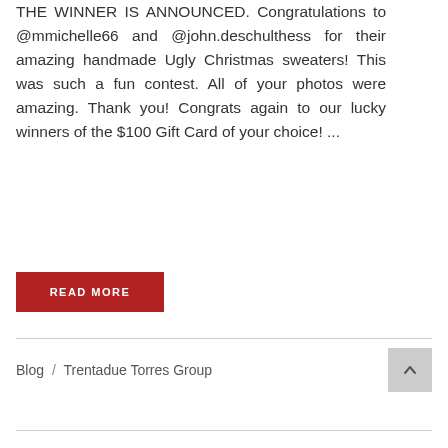THE WINNER IS ANNOUNCED. Congratulations to @mmichelle66 and @john.deschulthess for their amazing handmade Ugly Christmas sweaters! This was such a fun contest. All of your photos were amazing. Thank you! Congrats again to our lucky winners of the $100 Gift Card of your choice! ...
READ MORE
Blog / Trentadue Torres Group